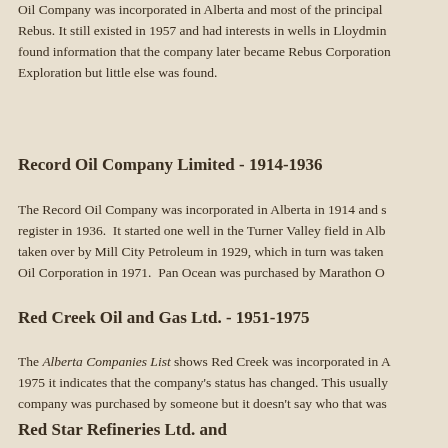Oil Company was incorporated in Alberta and most of the principal... Rebus. It still existed in 1957 and had interests in wells in Lloydmin... found information that the company later became Rebus Corporation... Exploration but little else was found.
Record Oil Company Limited - 1914-1936
The Record Oil Company was incorporated in Alberta in 1914 and s... register in 1936. It started one well in the Turner Valley field in Alb... taken over by Mill City Petroleum in 1929, which in turn was taken... Oil Corporation in 1971. Pan Ocean was purchased by Marathon O...
Red Creek Oil and Gas Ltd. - 1951-1975
The Alberta Companies List shows Red Creek was incorporated in A... 1975 it indicates that the company's status has changed. This usually... company was purchased by someone but it doesn't say who that was...
Red Star Refineries Ltd. and